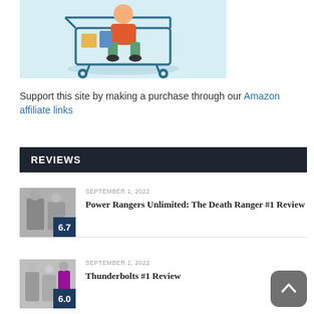[Figure (illustration): Illustration of a person sitting in a shopping cart with items, on a light blue background]
Support this site by making a purchase through our Amazon affiliate links
REVIEWS
SEPTEMBER 1, 2022
[Figure (photo): Thumbnail image for Power Rangers Unlimited: The Death Ranger #1 Review with score badge 6.7]
Power Rangers Unlimited: The Death Ranger #1 Review
SEPTEMBER 1, 2022
[Figure (photo): Thumbnail image for Thunderbolts #1 Review with score badge 6.0]
Thunderbolts #1 Review